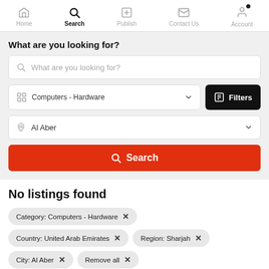Home | Search | Publish | Contact Us | Account
What are you looking for?
What are you looking for? (search input placeholder)
Computers - Hardware (category dropdown)
Filters button
Al Aber (location dropdown)
Search button
No listings found
Category: Computers - Hardware ×
Country: United Arab Emirates × | Region: Sharjah ×
City: Al Aber × | Remove all ×